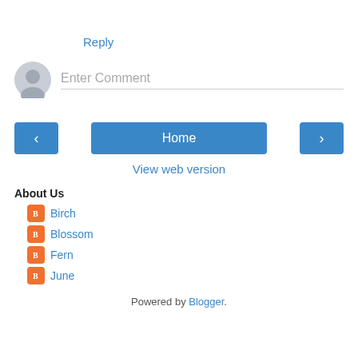Reply
[Figure (illustration): Comment input area with a user avatar icon and 'Enter Comment' placeholder text field]
[Figure (illustration): Navigation buttons: left arrow, Home, right arrow]
View web version
About Us
Birch
Blossom
Fern
June
Powered by Blogger.